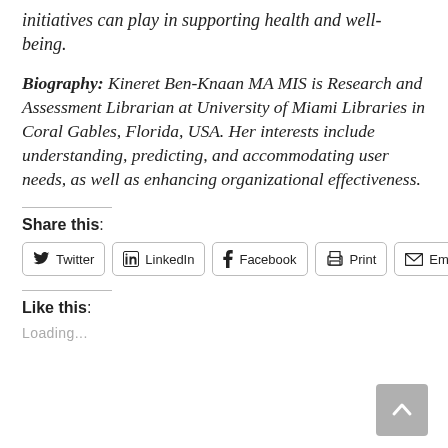initiatives can play in supporting health and well-being.
Biography: Kineret Ben-Knaan MA MIS is Research and Assessment Librarian at University of Miami Libraries in Coral Gables, Florida, USA. Her interests include understanding, predicting, and accommodating user needs, as well as enhancing organizational effectiveness.
Share this:
Twitter | LinkedIn | Facebook | Print | Email
Like this:
Loading...